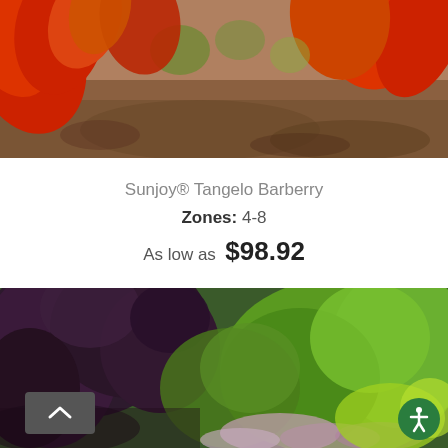[Figure (photo): Close-up photo of Sunjoy Tangelo Barberry plant with red and orange leaves against a blurred brown soil background.]
Sunjoy® Tangelo Barberry
Zones: 4-8
As low as  $98.92
[Figure (photo): Garden landscape photo showing dark purple barberry shrubs on the left and green flowering plants/hydrangeas on the right.]